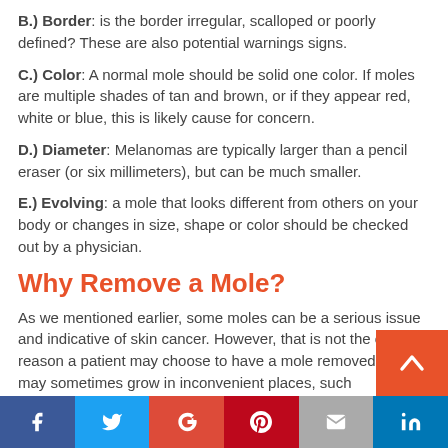B.) Border: is the border irregular, scalloped or poorly defined? These are also potential warnings signs.
C.) Color: A normal mole should be solid one color. If moles are multiple shades of tan and brown, or if they appear red, white or blue, this is likely cause for concern.
D.) Diameter: Melanomas are typically larger than a pencil eraser (or six millimeters), but can be much smaller.
E.) Evolving: a mole that looks different from others on your body or changes in size, shape or color should be checked out by a physician.
Why Remove a Mole?
As we mentioned earlier, some moles can be a serious issue and indicative of skin cancer. However, that is not the only reason a patient may choose to have a mole removed. Moles may sometimes grow in inconvenient places, such